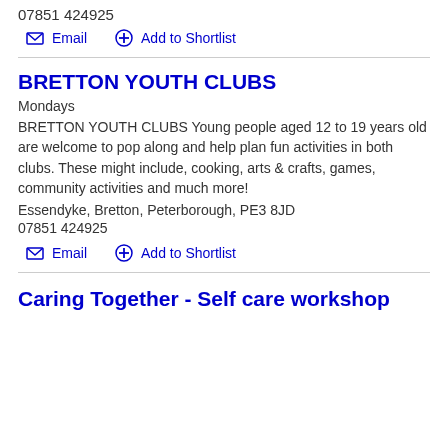07851 424925
Email   Add to Shortlist
BRETTON YOUTH CLUBS
Mondays
BRETTON YOUTH CLUBS Young people aged 12 to 19 years old are welcome to pop along and help plan fun activities in both clubs. These might include, cooking, arts & crafts, games, community activities and much more!
Essendyke, Bretton, Peterborough, PE3 8JD
07851 424925
Email   Add to Shortlist
Caring Together - Self care workshop